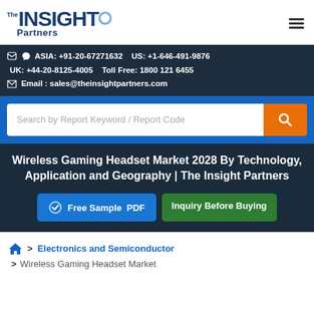The Insight Partners [logo] [hamburger menu]
ASIA: +91-20-67271632   US: +1-646-491-9876
UK: +44-20-8125-4005   Toll Free: 1800 121 6455
Email : sales@theinsightpartners.com
[Figure (screenshot): Search bar with placeholder 'Search by Report Keyword / Report Code' and an orange search button]
Wireless Gaming Headset Market 2028 By Technology, Application and Geography | The Insight Partners
Free Sample PDF   Inquiry Before Buying
Electronics and Semiconductor
Wireless Gaming Headset Market